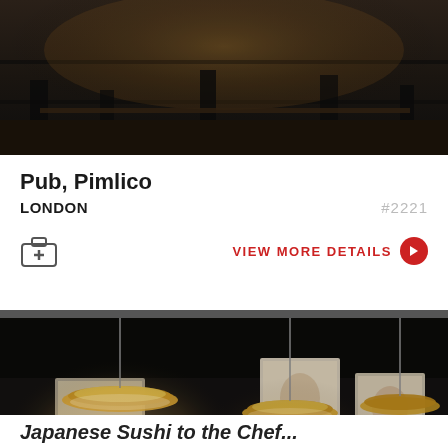[Figure (photo): Interior photo of a pub or bar, dark wood tones visible at top of card]
Pub, Pimlico
LONDON  #2221
VIEW MORE DETAILS
[Figure (photo): Dark, moody interior of an upscale restaurant dining room with pendant lights, long dining table set with glassware and floral decorations, artwork on walls]
Japanese Sushi to the Chef...